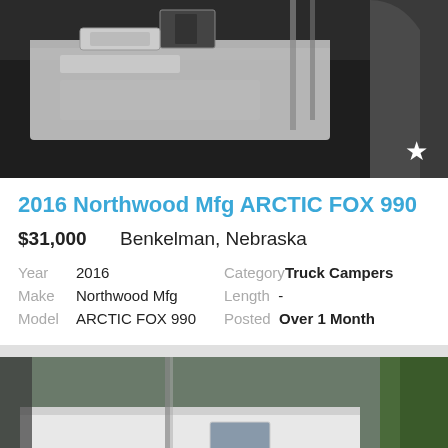[Figure (photo): Photo of a truck camper (white vehicle) from above/side angle, dark background]
2016 Northwood Mfg ARCTIC FOX 990
$31,000   Benkelman, Nebraska
| Field | Value | Field | Value |
| --- | --- | --- | --- |
| Year | 2016 | Category | Truck Campers |
| Make | Northwood Mfg | Length | - |
| Model | ARCTIC FOX 990 | Posted | Over 1 Month |
[Figure (photo): Photo of an RV/travel trailer parked outdoors with trees in background, with a Bloomingdale's advertisement banner overlay]
CLOSE
bloomingdales  View Today's Top Deals!  SHOP NOW >